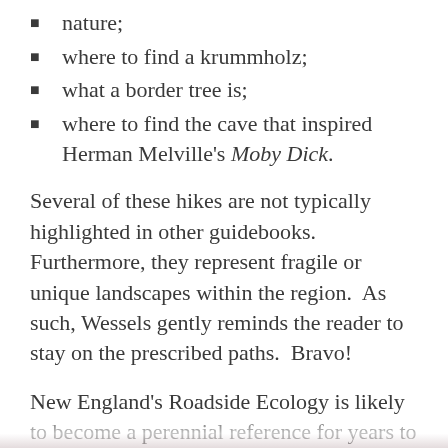nature;
where to find a krummholz;
what a border tree is;
where to find the cave that inspired Herman Melville's Moby Dick.
Several of these hikes are not typically highlighted in other guidebooks.  Furthermore, they represent fragile or unique landscapes within the region.  As such, Wessels gently reminds the reader to stay on the prescribed paths.  Bravo!
New England's Roadside Ecology is likely to become a perennial reference for years to come, as long as we don't destroy the very attractions we seek.